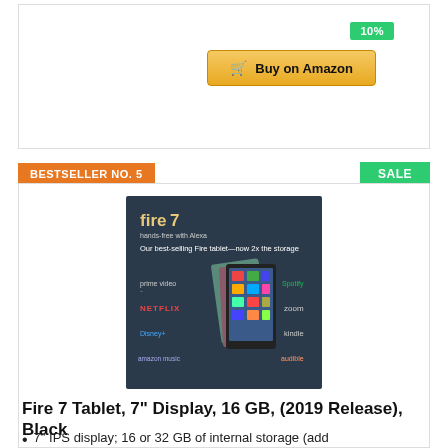[Figure (screenshot): Buy on Amazon button with shopping cart icon, golden/yellow gradient background]
BESTSELLER NO. 5
SALE
[Figure (photo): Amazon Fire 7 tablet product image showing the Fire 7 tablet in multiple colors with app logos including prime video, Netflix, Disney+, amazon music, Spotify, zoom, kindle, audible. Text reads: fire7, hands-free with Alexa, Our best-selling Fire tablet—now 2x the storage]
Fire 7 Tablet, 7" Display, 16 GB, (2019 Release), Black
7" IPS display; 16 or 32 GB of internal storage (add